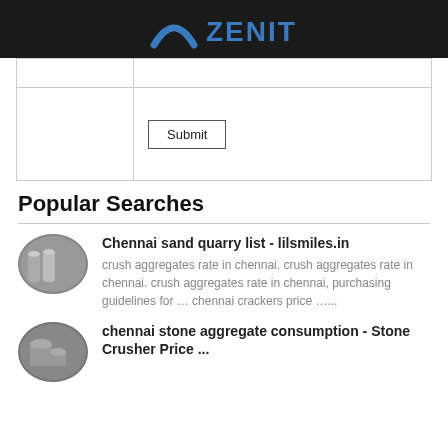[Figure (logo): Zenit logo with blue arch/triangle icon and blue ZENIT text on dark background]
|  |  |
|  | Submit |
Popular Searches
Chennai sand quarry list - lilsmiles.in
crush aggregates rate in chennai. crush aggregates rate in chennai. crush aggregates rate in chennai, purchasing guidelines for … chennai crackers price …...
chennai stone aggregate consumption - Stone Crusher Price ...